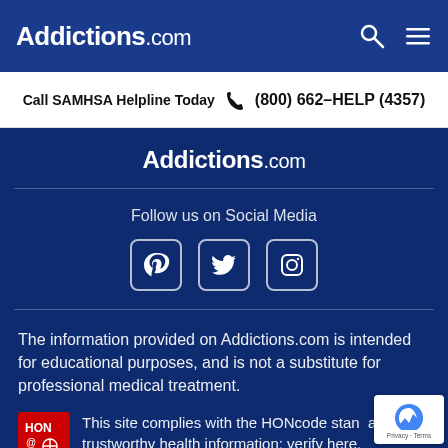Addictions.com
Call SAMHSA Helpline Today  (800) 662-HELP (4357)
Addictions.com
Follow us on Social Media
[Figure (illustration): Social media icons: Pinterest, Twitter, Instagram]
The information provided on Addictions.com is intended for educational purposes, and is not a substitute for professional medical treatment.
This site complies with the HONcode standard for trustworthy health information: verify here.
[Figure (logo): HON (Health On the Net) badge logo with red background and @ symbol]